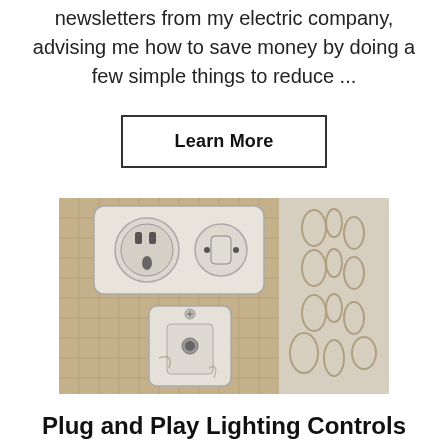newsletters from my electric company, advising me how to save money by doing a few simple things to reduce ...
Learn More
[Figure (photo): Close-up photo of old weathered white electrical wall outlets and a light switch mounted on a textured woven/wicker background with decorative floral wallpaper on the right side.]
Plug and Play Lighting Controls